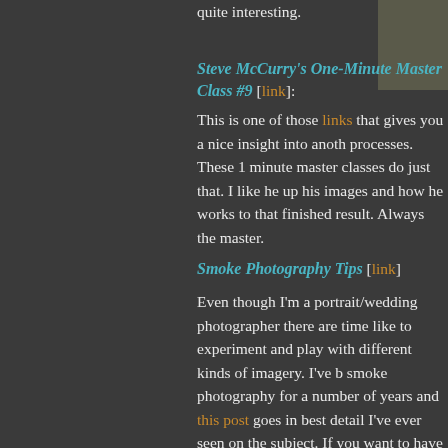quite interesting.
Steve McCurry's One-Minute Master Class #9 [link]:
This is one of those links that gives you a nice insight into another photographer's processes. These 1 minute master classes do just that. I like he up his images and how he works to that finished result. Always the master.
Smoke Photography Tips [link]
Even though I'm a portrait/wedding photographer there are times I like to experiment and play with different kinds of imagery. I've b smoke photography for a number of years and this post goes in best detail I've ever seen on the subject. If you want to have a l side, I recommend this post to you.
Photoshop Freebies and More
Christmas Ornaments In A Flash! [link]
Okay gang, this is about the most fun Photoshop action that I've time. Remember when you were a kid and sat around the week ornaments? Now you can do something really cool.
This PS action allows you to cut your Christmas decoration bills substantially too. Just load photos of your kids in the